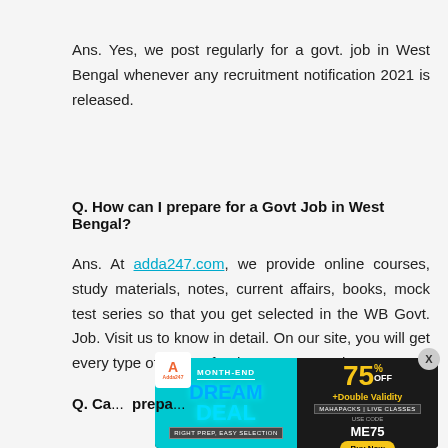Ans. Yes, we post regularly for a govt. job in West Bengal whenever any recruitment notification 2021 is released.
Q. How can I prepare for a Govt Job in West Bengal?
Ans. At adda247.com, we provide online courses, study materials, notes, current affairs, books, mock test series so that you get selected in the WB Govt. Job. Visit us to know in detail. On our site, you will get every type of course for the WB Govt. Job.
[Figure (infographic): Adda247 Month-End Dream Deal advertisement banner showing Flat 75% OFF, +Double Validity, Mahapacks | Live Classes, Use Code ME75, Buy Now button]
Q. Ca... prepa...